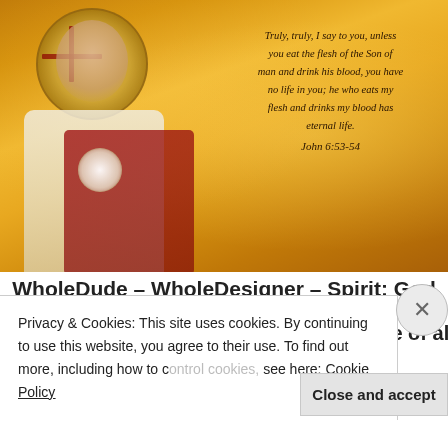[Figure (illustration): Religious illustration of Jesus Christ in Byzantine icon style holding the Eucharist, set against a golden background. Overlaid with cursive scripture text: 'Truly, truly, I say to you, unless you eat the flesh of the Son of man and drink his blood, you have no life in you; he who eats my flesh and drinks my blood has eternal life. John 6:53-54']
WholeDude – WholeDesigner – Spirit: God has
absolute Life in Himself and is the source of all
Privacy & Cookies: This site uses cookies. By continuing to use this website, you agree to their use. To find out more, including how to control cookies, see here: Cookie Policy
Close and accept